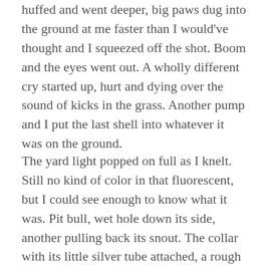huffed and went deeper, big paws dug into the ground at me faster than I would've thought and I squeezed off the shot. Boom and the eyes went out. A wholly different cry started up, hurt and dying over the sound of kicks in the grass. Another pump and I put the last shell into whatever it was on the ground.
The yard light popped on full as I knelt. Still no kind of color in that fluorescent, but I could see enough to know what it was. Pit bull, wet hole down its side, another pulling back its snout. The collar with its little silver tube attached, a rough T scratched into one end.